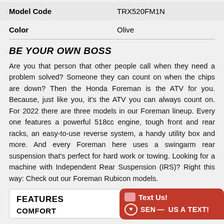| Model Code | TRX520FM1N |
| Color | Olive |
BE YOUR OWN BOSS
Are you that person that other people call when they need a problem solved? Someone they can count on when the chips are down? Then the Honda Foreman is the ATV for you. Because, just like you, it's the ATV you can always count on. For 2022 there are three models in our Foreman lineup. Every one features a powerful 518cc engine, tough front and rear racks, an easy-to-use reverse system, a handy utility box and more. And every Foreman here uses a swingarm rear suspension that's perfect for hard work or towing. Looking for a machine with Independent Rear Suspension (IRS)? Right this way: Check out our Foreman Rubicon models.
FEATURES
COMFORT